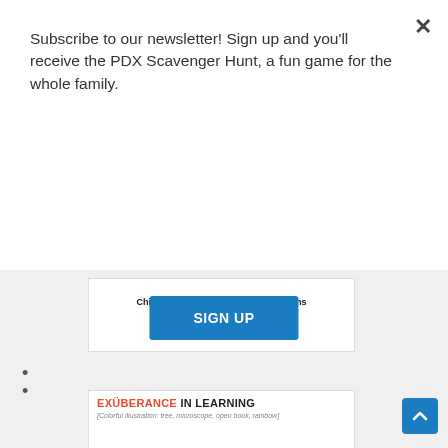Subscribe to our newsletter! Sign up and you'll receive the PDX Scavenger Hunt, a fun game for the whole family.
[Figure (screenshot): Blue SIGN UP button]
[Figure (illustration): German International School ad banner — Chinese & German Language Programs with orange globe logo]
•
•
[Figure (illustration): EXUBERANCE IN LEARNING banner with colorful illustration of tree, microscope, open book and rainbow colors]